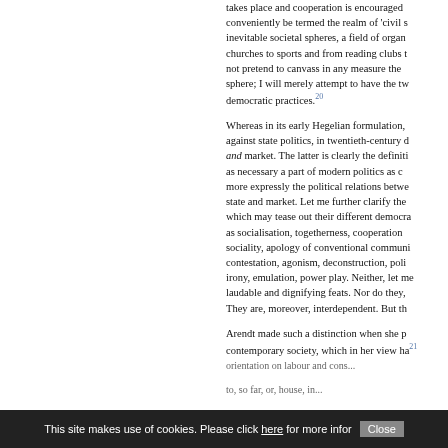takes place and cooperation is encouraged conveniently be termed the realm of 'civil s inevitable societal spheres, a field of organ churches to sports and from reading clubs t not pretend to canvass in any measure the sphere; I will merely attempt to have the tw democratic practices.20
Whereas in its early Hegelian formulation, against state politics, in twentieth-century d and market. The latter is clearly the definiti as necessary a part of modern politics as c more expressly the political relations betwe state and market. Let me further clarify the which may tease out their different democra as socialisation, togetherness, cooperation sociality, apology of conventional communi contestation, agonism, deconstruction, poli irony, emulation, power play. Neither, let me laudable and dignifying feats. Nor do they, They are, moreover, interdependent. But th
Arendt made such a distinction when she p contemporary society, which in her view ha orientation on labour and cons... 21 to, so far, or, house, in...
This site makes use of cookies. Please click here for more infor Close